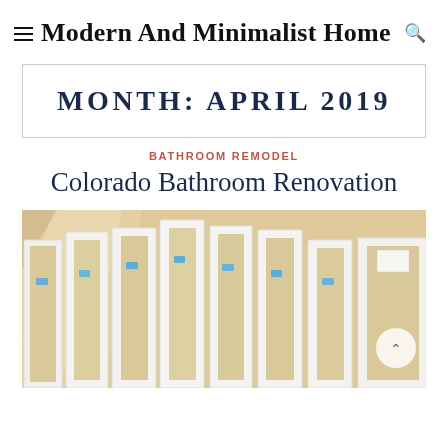Modern And Minimalist Home
MONTH: APRIL 2019
BATHROOM REMODEL
Colorado Bathroom Renovation
[Figure (photo): Photo of white cabinet door frames with blue painter's tape leaning against a beige wall with window light casting shadows]